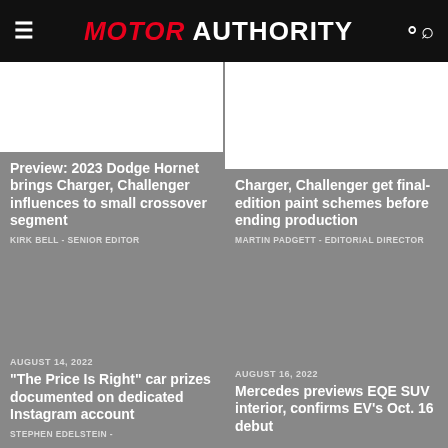MOTOR AUTHORITY
Preview: 2023 Dodge Hornet brings Charger, Challenger influences to small crossover segment
KIRK BELL - SENIOR EDITOR
Charger, Challenger get final-edition paint schemes before ending production
MARTIN PADGETT - EDITORIAL DIRECTOR
AUGUST 14, 2022
"The Price Is Right" car prizes documented on dedicated Instagram account
STEPHEN EDELSTEIN -
AUGUST 16, 2022
Mercedes previews EQE SUV interior, confirms EV's Oct. 16 debut